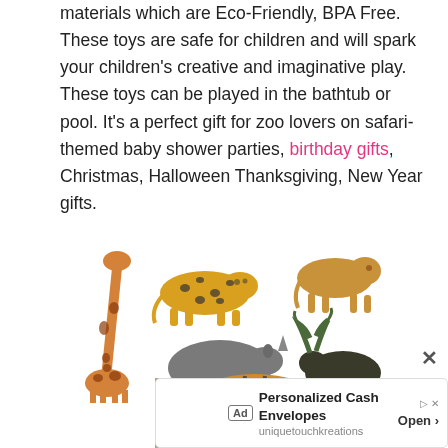materials which are Eco-Friendly, BPA Free. These toys are safe for children and will spark your children's creative and imaginative play. These toys can be played in the bathtub or pool. It's a perfect gift for zoo lovers on safari-themed baby shower parties, birthday gifts, Christmas, Halloween Thanksgiving, New Year gifts.
[Figure (photo): Photo of plastic animal toy figurines including a giraffe, leopard, lion, rhino, moose/elk, and tiger on white background]